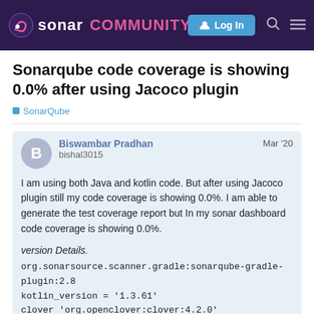sonar COMMUNITY  Log In
Sonarqube code coverage is showing 0.0% after using Jacoco plugin
SonarQube
Biswambar Pradhan  bishal3015  Mar '20
I am using both Java and kotlin code. But after using Jacoco plugin still my code coverage is showing 0.0%. I am able to generate the test coverage report but In my sonar dashboard code coverage is showing 0.0%.

version Details.
org.sonarsource.scanner.gradle:sonarqube-gradle-plugin:2.8
kotlin_version = '1.3.61'
clover 'org.openclover:clover:4.2.0'
jacoco='0.8.2'